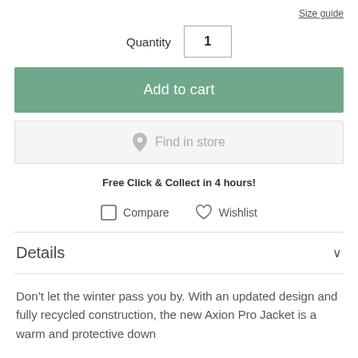Size guide
Quantity  1
Add to cart
Find in store
Free Click & Collect in 4 hours!
Compare  Wishlist
Details
Don't let the winter pass you by. With an updated design and fully recycled construction, the new Axion Pro Jacket is a warm and protective down